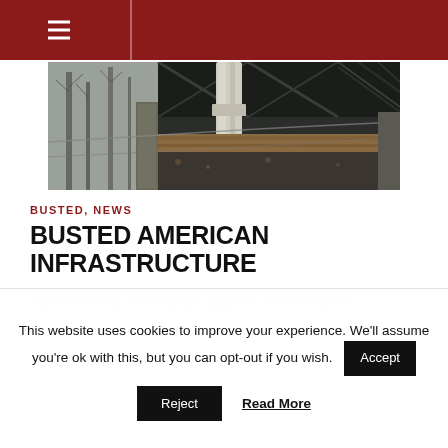Navigation header with hamburger menu
[Figure (photo): Underside of a deteriorating bridge/infrastructure — rusted metal beams, wooden planks, exposed pipes and supports, surrounded by bare winter trees. Black and white / muted tones.]
BUSTED, NEWS
BUSTED AMERICAN INFRASTRUCTURE
Busted American Infrastructure, makes for Busted Rides It's
This website uses cookies to improve your experience. We'll assume you're ok with this, but you can opt-out if you wish. Accept
Reject   Read More